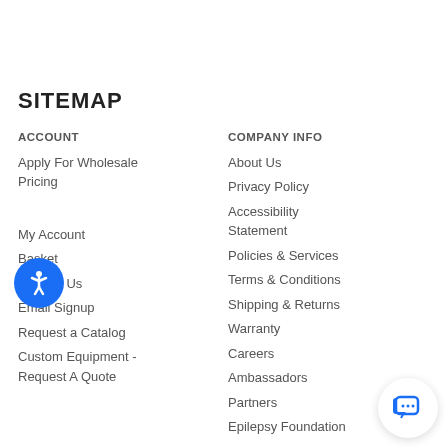SITEMAP
ACCOUNT
Apply For Wholesale Pricing
Sign In
My Account
Basket
Contact Us
Email Signup
Request a Catalog
Custom Equipment - Request A Quote
COMPANY INFO
About Us
Privacy Policy
Accessibility Statement
Policies & Services
Terms & Conditions
Shipping & Returns
Warranty
Careers
Ambassadors
Partners
Epilepsy Foundation